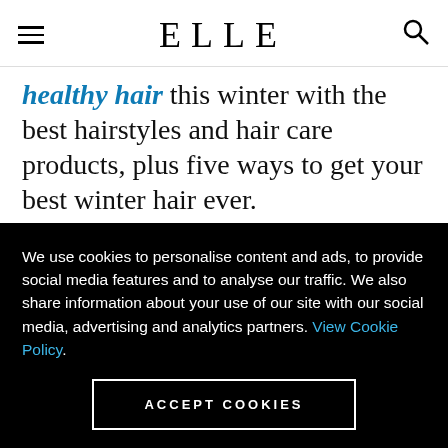ELLE
healthy hair this winter with the best hairstyles and hair care products, plus five ways to get your best winter hair ever.
GALLERY: The best healthy hair texturizing
We use cookies to personalise content and ads, to provide social media features and to analyse our traffic. We also share information about your use of our site with our social media, advertising and analytics partners. View Cookie Policy.
ACCEPT COOKIES